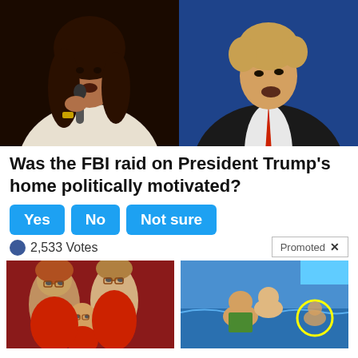[Figure (photo): Two side-by-side photos: left shows a woman with a microphone (Kamala Harris), right shows a man in a suit with red tie (Donald Trump)]
Was the FBI raid on President Trump's home politically motivated?
Yes | No | Not sure (poll buttons)
2,533 Votes
Promoted X
[Figure (photo): Family portrait with two older women and a young child with matching glasses]
These Strange Family Photos Will Make You Cringe!
25,461
[Figure (photo): Children playing in a pool/water slide with a yellow circle highlighting one child]
Can't Wait For Summer? You've Got To See These Pics
129,728